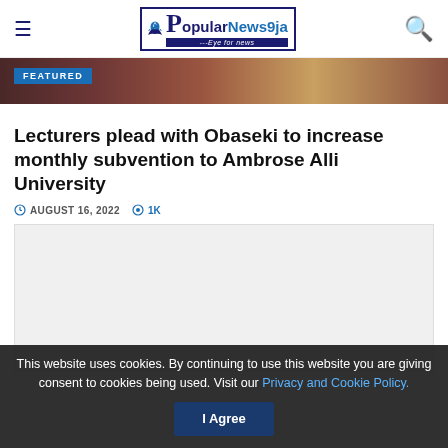Popular News9ja
[Figure (photo): Partial featured image with FEATURED badge overlay, showing a person in academic or formal attire]
Lecturers plead with Obaseki to increase monthly subvention to Ambrose Alli University
AUGUST 16, 2022  1K
[Figure (other): Advertisement placeholder box (light grey background)]
This website uses cookies. By continuing to use this website you are giving consent to cookies being used. Visit our Privacy and Cookie Policy.